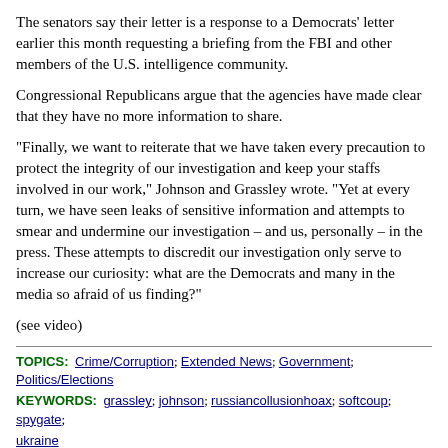The senators say their letter is a response to a Democrats' letter earlier this month requesting a briefing from the FBI and other members of the U.S. intelligence community.
Congressional Republicans argue that the agencies have made clear that they have no more information to share.
"Finally, we want to reiterate that we have taken every precaution to protect the integrity of our investigation and keep your staffs involved in our work," Johnson and Grassley wrote. "Yet at every turn, we have seen leaks of sensitive information and attempts to smear and undermine our investigation – and us, personally – in the press. These attempts to discredit our investigation only serve to increase our curiosity: what are the Democrats and many in the media so afraid of us finding?"
(see video)
TOPICS: Crime/Corruption; Extended News; Government; Politics/Elections
KEYWORDS: grassley; johnson; russiancollusionhoax; softcoup; spygate; ukraine
1 posted on 7/29/2020, 2:31:48 AM by bitt
[ Post Reply | Private Reply | View Replies]